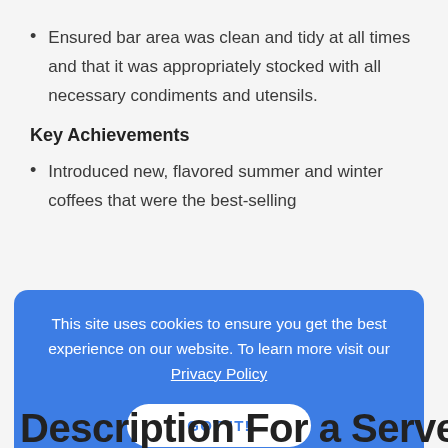Ensured bar area was clean and tidy at all times and that it was appropriately stocked with all necessary condiments and utensils.
Key Achievements
Introduced new, flavored summer and winter coffees that were the best-selling
This site uses cookies to ensure you get the best experience on our website. To learn more visit our Privacy Policy
GOT IT!
Description For a Server